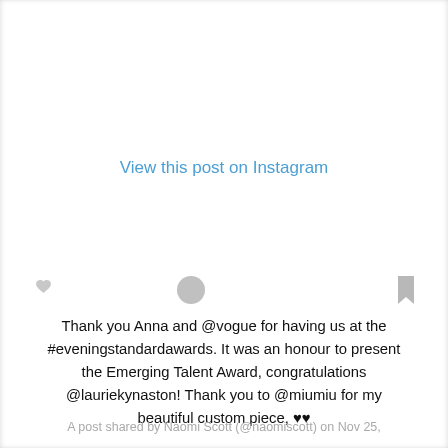View this post on Instagram
[Figure (other): Instagram post action icons: heart, comment bubble, and bookmark]
Thank you Anna and @vogue for having us at the #eveningstandardawards. It was an honour to present the Emerging Talent Award, congratulations @lauriekynaston! Thank you to @miumiu for my beautiful custom piece, ♥♥
A post shared by Naomi Scott (@naomiscott) on Nov 25,